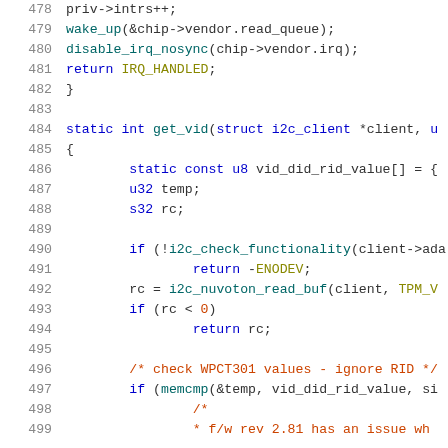[Figure (screenshot): Source code listing showing C code lines 478-499, with syntax highlighting. Line numbers in gray on left, keywords in blue, function names in teal, comments in red/orange, macro constants in olive.]